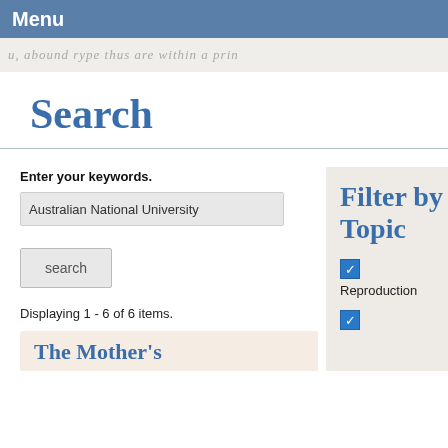Menu
u, abound rype thus are within a prin
Search
Enter your keywords.
Australian National University
search
Displaying 1 - 6 of 6 items.
Filter by Topic
Reproduction
The Mother's